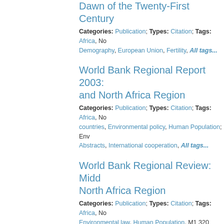Dawn of the Twenty-First Century
Categories: Publication; Types: Citation; Tags: Africa, No Demography, European Union, Fertility, All tags...
World Bank Regional Report 2003: and North Africa Region
Categories: Publication; Types: Citation; Tags: Africa, No countries, Environmental policy, Human Population; Env Abstracts, International cooperation, All tags...
World Bank Regional Review: Midd North Africa Region
Categories: Publication; Types: Citation; Tags: Africa, No Environmental law, Human Population, M1 320 Environ Resource Development, All tags...
New species of Cetema Hendel wi the distribution of the genus. (Inse Chloropidae)
Categories: Publication; Types: Citation; Tags: Africa, No Chloropidae, Diptera, Entomology Abstracts, All tags...